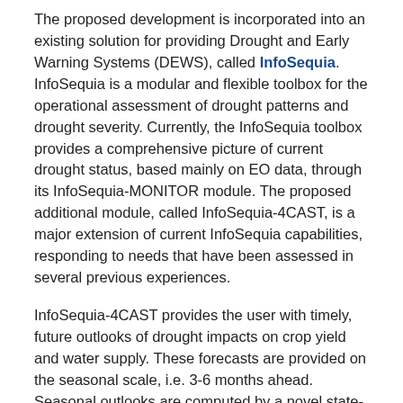The proposed development is incorporated into an existing solution for providing Drought and Early Warning Systems (DEWS), called InfoSequia. InfoSequia is a modular and flexible toolbox for the operational assessment of drought patterns and drought severity. Currently, the InfoSequia toolbox provides a comprehensive picture of current drought status, based mainly on EO data, through its InfoSequia-MONITOR module. The proposed additional module, called InfoSequia-4CAST, is a major extension of current InfoSequia capabilities, responding to needs that have been assessed in several previous experiences.
InfoSequia-4CAST provides the user with timely, future outlooks of drought impacts on crop yield and water supply. These forecasts are provided on the seasonal scale, i.e. 3-6 months ahead. Seasonal outlooks are computed by a novel state-of-the-art Machine Learning technique. This technique has already been tested for applications related to crop production forecasting and agricultural drought risk financing. The FFTrees algorithm uses predictor datasets (in this case, a range of climate variability indices alongside other climatic and vegetative indices) to generate FFTs predicting a binary